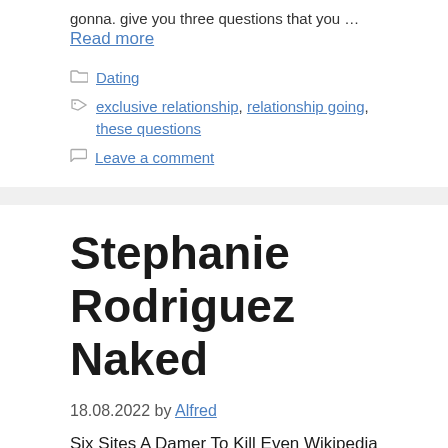gonna. give you three questions that you …
Read more
Dating
exclusive relationship, relationship going, these questions
Leave a comment
Stephanie Rodriguez Naked
18.08.2022 by Alfred
Six Sites A Damer To Kill Even Wikipedia 72...